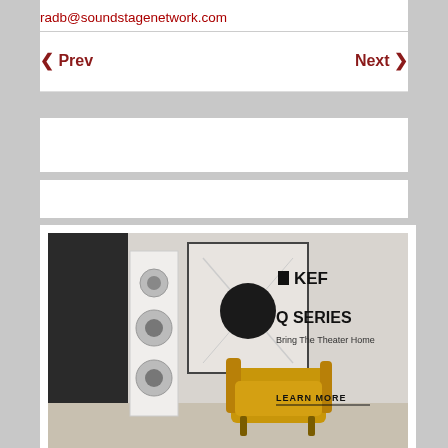radb@soundstagenetwork.com
◀ Prev    Next ▶
[Figure (illustration): White empty advertisement block 1]
[Figure (illustration): White empty advertisement block 2]
[Figure (photo): KEF Q SERIES advertisement: tall white floor-standing speakers beside a yellow armchair, with framed wall art in the background. Text reads: KEF, Q SERIES, Bring The Theater Home, LEARN MORE]